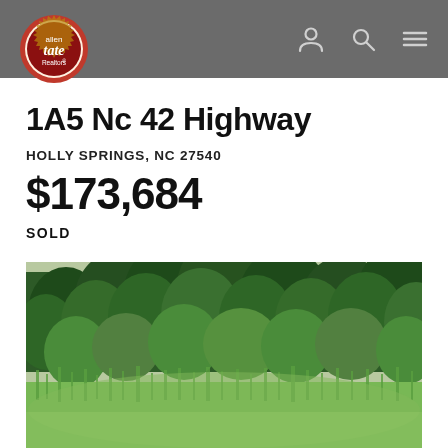Allen Tate Realtors — navigation header
1A5 Nc 42 Highway
HOLLY SPRINGS, NC 27540
$173,684
SOLD
[Figure (photo): Outdoor property photo showing dense green trees and tall grass/vegetation in summer]